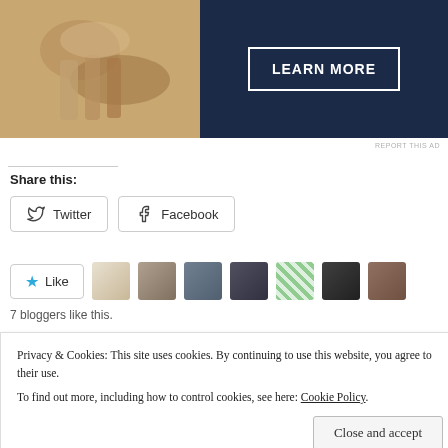[Figure (photo): Advertisement banner with a photo on the left (person with hands visible) and a dark navy blue background on the right with a 'LEARN MORE' button]
REPORT THIS AD
Share this:
Twitter  Facebook
Like  [7 blogger avatars]
7 bloggers like this.
Privacy & Cookies: This site uses cookies. By continuing to use this website, you agree to their use.
To find out more, including how to control cookies, see here: Cookie Policy
Close and accept
In  Poetry